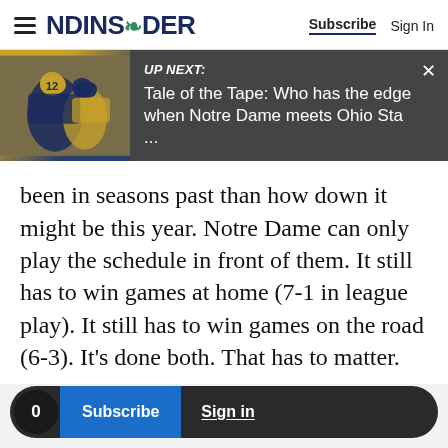NDINSiDER — Subscribe | Sign In
[Figure (screenshot): UP NEXT banner with Notre Dame football players image on left and text: 'UP NEXT: Tale of the Tape: Who has the edge when Notre Dame meets Ohio Sta ...' on dark gray background]
been in seasons past than how down it might be this year. Notre Dame can only play the schedule in front of them. It still has to win games at home (7-1 in league play). It still has to win games on the road (6-3). It's done both. That has to matter.
Advertisement